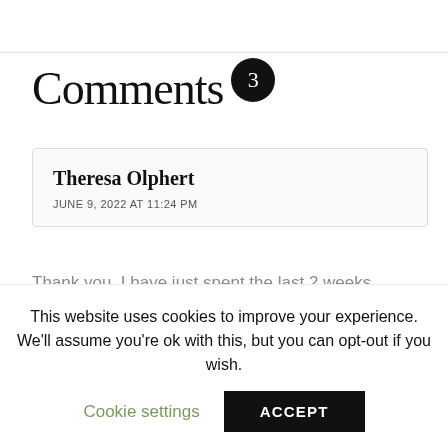Comments 3
Theresa Olphert
JUNE 9, 2022 AT 11:24 PM
Thank you. I have just spent the last 2 weeks decluttering wardrobes and bedrooms. Hard work but now that I've cleared out stuff I feel great.
I'm glad you have said those bags don't reseal. I thought it was just me!
This website uses cookies to improve your experience. We'll assume you're ok with this, but you can opt-out if you wish.
Cookie settings  ACCEPT